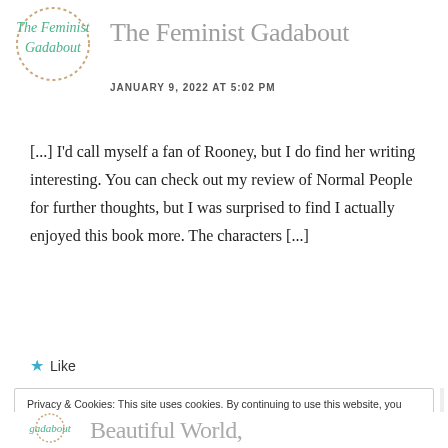[Figure (logo): The Feminist Gadabout blog logo — circular dotted border with green italic script text]
The Feminist Gadabout
JANUARY 9, 2022 AT 5:02 PM
[...] I'd call myself a fan of Rooney, but I do find her writing interesting. You can check out my review of Normal People for further thoughts, but I was surprised to find I actually enjoyed this book more. The characters [...]
Like
Privacy & Cookies: This site uses cookies. By continuing to use this website, you agree to their use.
To find out more, including how to control cookies, see here: Cookie Policy
Close and accept
[Figure (logo): The Feminist Gadabout bottom logo (partial, italic green script)]
Beautiful World,